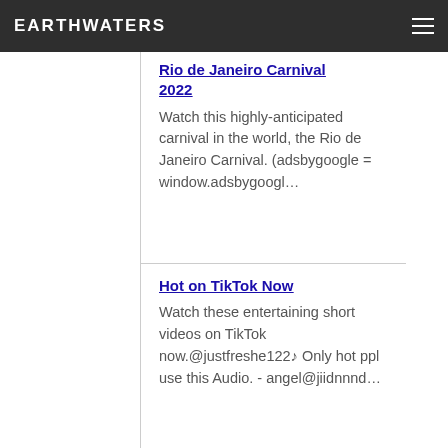EARTHWATERS
Rio de Janeiro Carnival 2022
Watch this highly-anticipated carnival in the world, the Rio de Janeiro Carnival. (adsbygoogle = window.adsbygoogl...
Hot on TikTok Now
Watch these entertaining short videos on TikTok now.@justfreshe122♪ Only hot ppl use this Audio. - angel@jiidnnnd...
Earthwaters - Health